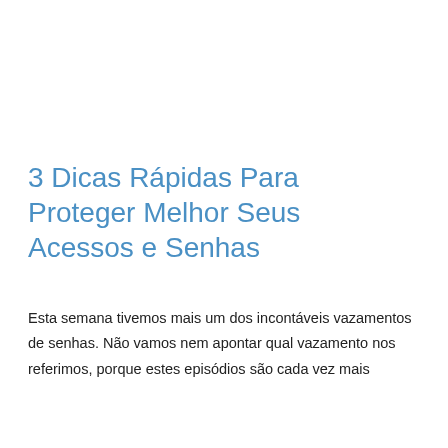3 Dicas Rápidas Para Proteger Melhor Seus Acessos e Senhas
Esta semana tivemos mais um dos incontáveis vazamentos de senhas. Não vamos nem apontar qual vazamento nos referimos, porque estes episódios são cada vez mais
Leia mais